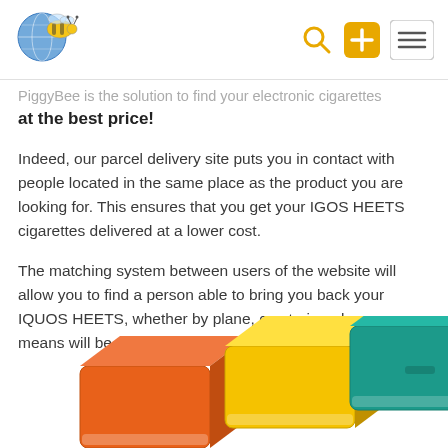[Figure (logo): Wasp/bee mascot logo with globe, cartoon bee character in blue and yellow]
PiggyBee is the solution to find your electronic cigarettes at the best price!
Indeed, our parcel delivery site puts you in contact with people located in the same place as the product you are looking for. This ensures that you get your IGOS HEETS cigarettes delivered at a lower cost.
The matching system between users of the website will allow you to find a person able to bring you back your IQUOS HEETS, whether by plane, car, train or bus, any means will be good so that you can provide yourself.
[Figure (photo): Three overlapping cigarette or HEETS product boxes in orange, yellow, and teal/green colors, viewed from an angle]